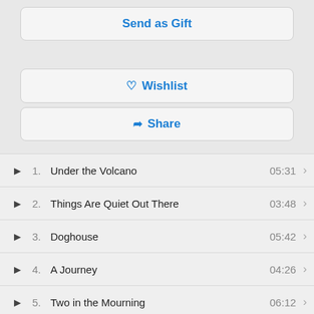[Figure (screenshot): Button labeled 'Send as Gift' with blue text on light gray background with rounded border]
[Figure (screenshot): Button with heart icon labeled 'Wishlist' with blue text on light gray background with rounded border]
[Figure (screenshot): Button with share icon labeled 'Share' with blue text on light gray background with rounded border]
1. Under the Volcano  05:31
2. Things Are Quiet Out There  03:48
3. Doghouse  05:42
4. A Journey  04:26
5. Two in the Mourning  06:12
6. In the Dark  04:32